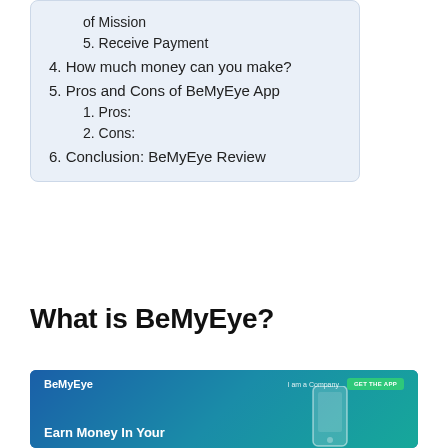of Mission
5. Receive Payment
4. How much money can you make?
5. Pros and Cons of BeMyEye App
1. Pros:
2. Cons:
6. Conclusion: BeMyEye Review
What is BeMyEye?
[Figure (screenshot): BeMyEye website screenshot showing navigation bar with logo, 'Iam a Company' link, 'GET THE APP' button, and partial hero section with 'Earn Money In Your' text and phone graphic]